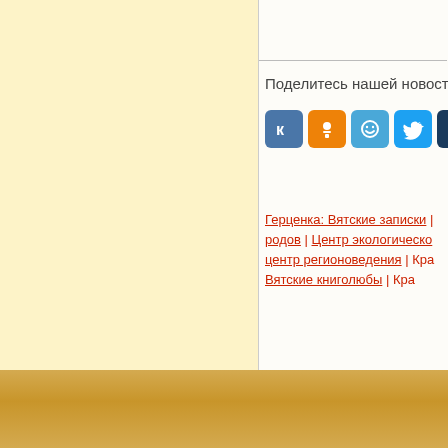Поделитесь нашей новост
[Figure (infographic): Social share buttons: VK (blue), OK (orange), smile/myworld (light blue), Twitter (blue), pen/telegram (dark navy), Viber (purple), WhatsApp (green)]
Герценка: Вятские записки | родов | Центр экологическо | центр регионоведения | Кра | Вятские книголюбы | Кра
Телефоны д | При использо